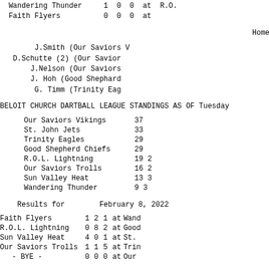Wandering Thunder   1  0  0  at  R.O.
Faith Flyers        0  0  0  at
Home Runs:
J.Smith (Our Saviors V
D.Schutte (2) (Our Savior
J.Nelson (Our Saviors
J. Hoh (Good Shephard
G. Timm (Trinity Eag
BELOIT CHURCH DARTBALL LEAGUE STANDINGS AS OF Tuesday
| Team | Points |
| --- | --- |
| Our Saviors Vikings | 37 |
| St. John Jets | 33 |
| Trinity Eagles | 29 |
| Good Shepherd Chiefs | 29 |
| R.O.L. Lightning | 19 2 |
| Our Saviors Trolls | 16 2 |
| Sun Valley Heat | 13 3 |
| Wandering Thunder | 9 3 |
Results for        February 8, 2022
| Team | R1 | R2 | R3 | vs | Opponent |
| --- | --- | --- | --- | --- | --- |
| Faith Flyers | 1 | 2 | 1 | at | Wand |
| R.O.L. Lightning | 0 | 8 | 2 | at | Good |
| Sun Valley Heat | 4 | 0 | 1 | at | St. |
| Our Saviors Trolls | 1 | 1 | 5 | at | Trin |
| - BYE - | 0 | 0 | 0 | at | Our |